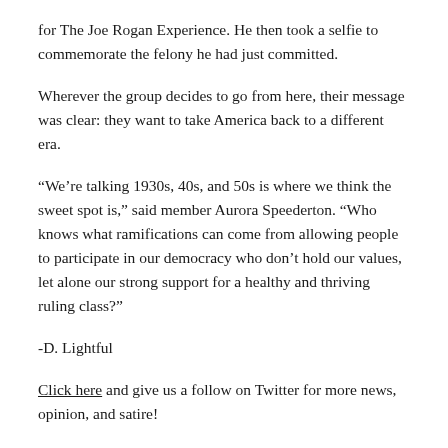for The Joe Rogan Experience. He then took a selfie to commemorate the felony he had just committed.
Wherever the group decides to go from here, their message was clear: they want to take America back to a different era.
“We’re talking 1930s, 40s, and 50s is where we think the sweet spot is,” said member Aurora Speederton. “Who knows what ramifications can come from allowing people to participate in our democracy who don’t hold our values, let alone our strong support for a healthy and thriving ruling class?”
-D. Lightful
Click here and give us a follow on Twitter for more news, opinion, and satire!